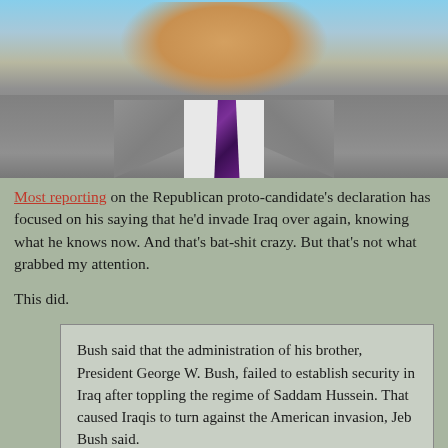[Figure (photo): Close-up photo of a man in a grey suit with a purple/maroon tie and white dress shirt, cropped from shoulders up]
Most reporting on the Republican proto-candidate's declaration has focused on his saying that he'd invade Iraq over again, knowing what he knows now. And that's bat-shit crazy. But that's not what grabbed my attention.
This did.
Bush said that the administration of his brother, President George W. Bush, failed to establish security in Iraq after toppling the regime of Saddam Hussein. That caused Iraqis to turn against the American invasion, Jeb Bush said.

“By the way, guess who thinks that those mistakes took place as well? George W.